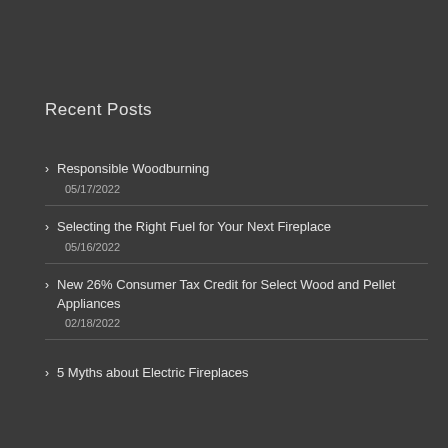Recent Posts
Responsible Woodburning
05/17/2022
Selecting the Right Fuel for Your Next Fireplace
05/16/2022
New 26% Consumer Tax Credit for Select Wood and Pellet Appliances
02/18/2022
5 Myths about Electric Fireplaces